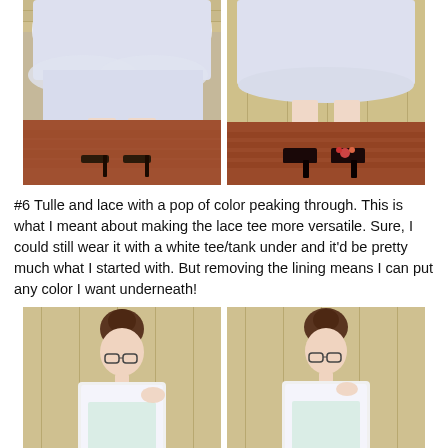[Figure (photo): Two side-by-side photos of a person's lower body wearing a white/light blue tulle skirt and dark high heels, standing on a brick patio near a wooden wall. Left photo shows stiletto heels, right photo shows platform heels with floral detail.]
#6 Tulle and lace with a pop of color peaking through. This is what I meant about making the lace tee more versatile. Sure, I could still wear it with a white tee/tank under and it'd be pretty much what I started with. But removing the lining means I can put any color I want underneath!
[Figure (photo): Two side-by-side photos of a young woman with dark hair in a bun, wearing glasses and a white lace top with a mint/light colored layer underneath, standing outdoors near a wooden wall. Left photo: she looks down to her left. Right photo: she looks down toward the camera.]